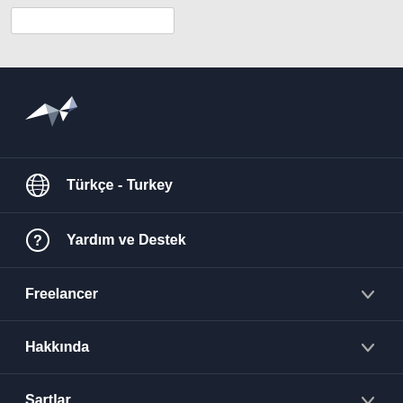[Figure (screenshot): Top light grey section with a white search/input box in the upper left]
[Figure (logo): Freelancer.com hummingbird logo in white on dark navy background]
Türkçe - Turkey
Yardım ve Destek
Freelancer
Hakkında
Şartlar